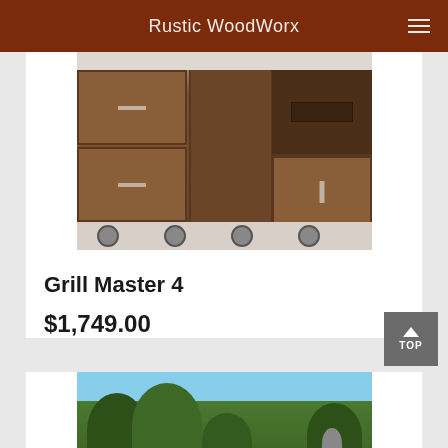Rustic WoodWorx
[Figure (photo): Photo of a wooden entertainment center cabinet on wheels with two drawers on the left, open shelf in the middle, and a panel door on the right. Dark brown wood finish.]
Grill Master 4
$1,749.00
[Figure (photo): Partial photo of an outdoor garden scene with green trees and grass, building visible in background.]